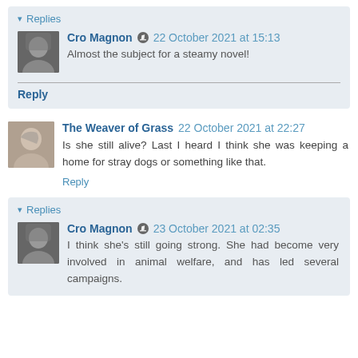▾ Replies
Cro Magnon ✎ 22 October 2021 at 15:13
Almost the subject for a steamy novel!
Reply
The Weaver of Grass 22 October 2021 at 22:27
Is she still alive? Last I heard I think she was keeping a home for stray dogs or something like that.
Reply
▾ Replies
Cro Magnon ✎ 23 October 2021 at 02:35
I think she's still going strong. She had become very involved in animal welfare, and has led several campaigns.